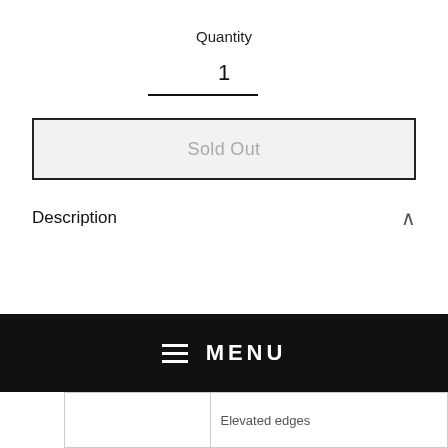Quantity
1
Sold Out
Description
|  |  |
| --- | --- |
| BRAND | i-Blason |
| SERIES | Halo Clear |
| COMPATIBILITY | iPad Pro 12.9" (2020) |
| MATERIALS | TPU + PC |
|  | Designed for Apple Smart Keyboard |
|  | Elevated edges |
MENU